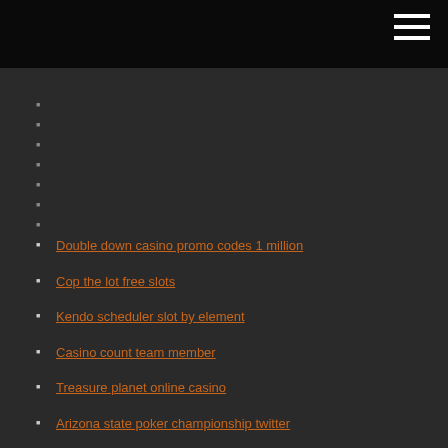Double down casino promo codes 1 million
Cop the lot free slots
Kendo scheduler slot by element
Casino count team member
Treasure planet online casino
Arizona state poker championship twitter